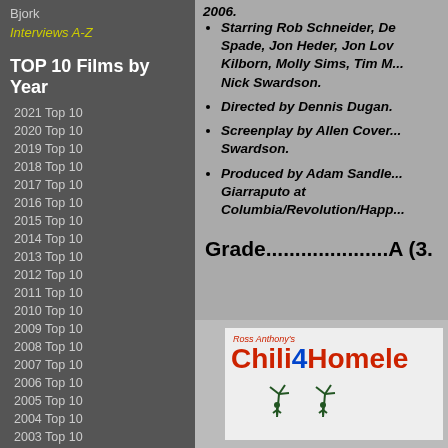Bjork
Interviews A-Z
TOP 10 Films by Year
2021 Top 10
2020 Top 10
2019 Top 10
2018 Top 10
2017 Top 10
2016 Top 10
2015 Top 10
2014 Top 10
2013 Top 10
2012 Top 10
2011 Top 10
2010 Top 10
2009 Top 10
2008 Top 10
2007 Top 10
2006 Top 10
2005 Top 10
2004 Top 10
2003 Top 10
2002 Top 10
2001 Top 10
2000 Top 10
1999 Top 10
2006.
Starring Rob Schneider, De... Spade, Jon Heder, Jon Lov... Kilborn, Molly Sims, Tim M... Nick Swardson.
Directed by Dennis Dugan.
Screenplay by Allen Cover... Swardson.
Produced by Adam Sandle... Giarraputo at Columbia/Revolution/Happ...
Grade.......................A (3.
[Figure (logo): Ross Anthony's Chili4Homeless logo with palm tree icons]